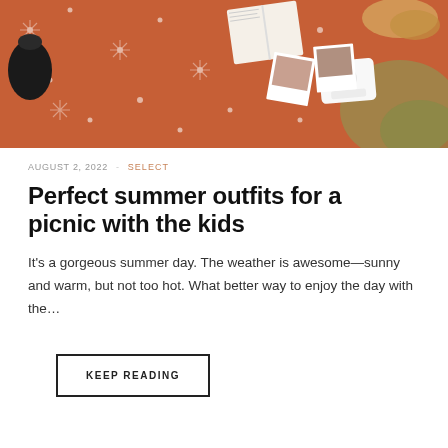[Figure (photo): Overhead view of an orange floral picnic blanket with a book, polaroid photos, an instant camera, and food items laid out on grass]
AUGUST 2, 2022  -  SELECT
Perfect summer outfits for a picnic with the kids
It's a gorgeous summer day. The weather is awesome—sunny and warm, but not too hot. What better way to enjoy the day with the…
KEEP READING